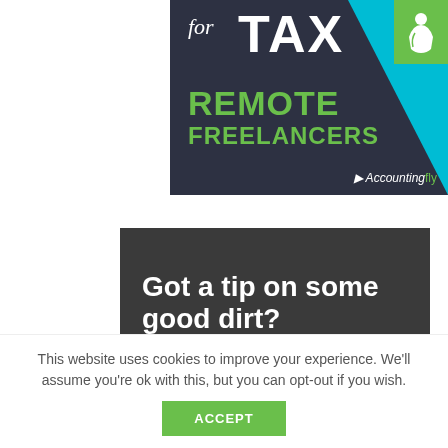[Figure (infographic): Accountingfly advertisement banner: dark navy background with 'for TAX' text in white italic/bold, 'REMOTE FREELANCERS' in green bold, blue triangle on right side, Accountingfly logo bottom right]
[Figure (logo): Green square with white person/accessibility icon]
[Figure (infographic): Dark grey banner with white bold text: 'Got a tip on some good dirt?']
This website uses cookies to improve your experience. We'll assume you're ok with this, but you can opt-out if you wish.
ACCEPT